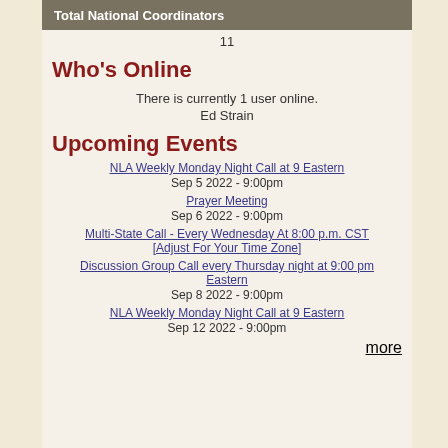Total National Coordinators
11
Who's Online
There is currently 1 user online.
Ed Strain
Upcoming Events
NLA Weekly Monday Night Call at 9 Eastern
Sep 5 2022 - 9:00pm
Prayer Meeting
Sep 6 2022 - 9:00pm
Multi-State Call - Every Wednesday At 8:00 p.m. CST [Adjust For Your Time Zone]
Discussion Group Call every Thursday night at 9:00 pm Eastern
Sep 8 2022 - 9:00pm
NLA Weekly Monday Night Call at 9 Eastern
Sep 12 2022 - 9:00pm
more